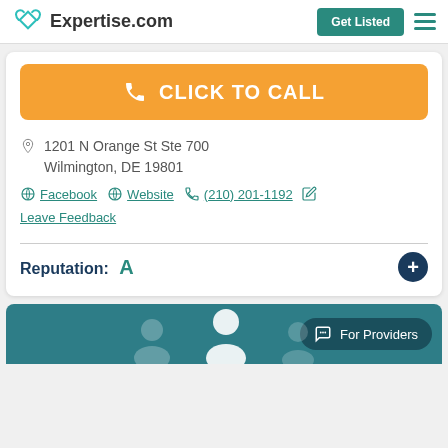Expertise.com | Get Listed
CLICK TO CALL
1201 N Orange St Ste 700
Wilmington, DE 19801
Facebook | Website | (210) 201-1192 | Leave Feedback
Reputation: A
[Figure (screenshot): Bottom teal section with For Providers button]